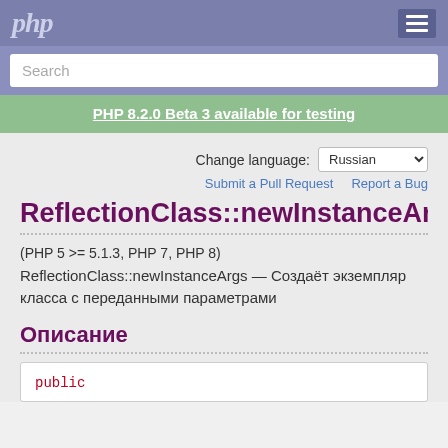php
Search
PHP 8.2.0 Beta 3 available for testing
Change language: Russian
Submit a Pull Request   Report a Bug
ReflectionClass::newInstanceAr…
(PHP 5 >= 5.1.3, PHP 7, PHP 8)
ReflectionClass::newInstanceArgs — Создаёт экземпляр класса с переданными параметрами
Описание
public